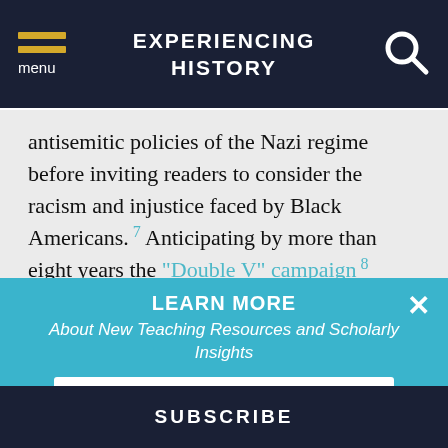EXPERIENCING HISTORY
antisemitic policies of the Nazi regime before inviting readers to consider the racism and injustice faced by Black Americans.7 Anticipating by more than eight years the "Double V" campaign8 embraced by many Black Americans during World War II, he concludes that Americans must "condemn the racial policies of
LEARN MORE
About New Teaching Resources and Scholarly Insights
Email Address
SUBSCRIBE